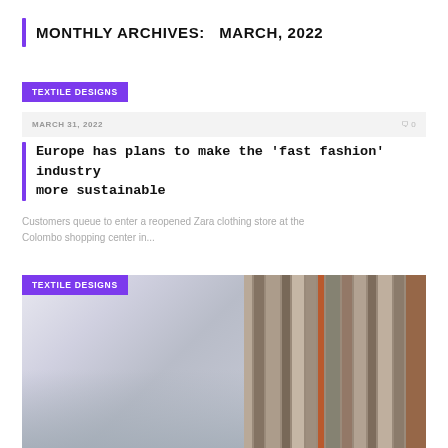MONTHLY ARCHIVES: MARCH, 2022
TEXTILE DESIGNS
MARCH 31, 2022   0
Europe has plans to make the ‘fast fashion’ industry more sustainable
Customers queue to enter a reopened Zara clothing store at the Colombo shopping center in...
TEXTILE DESIGNS
[Figure (photo): People browsing textile fabrics in a showroom; on the right side hanging fabric rolls/curtain samples, on the left a display room with patterned textiles, several people visible in foreground]